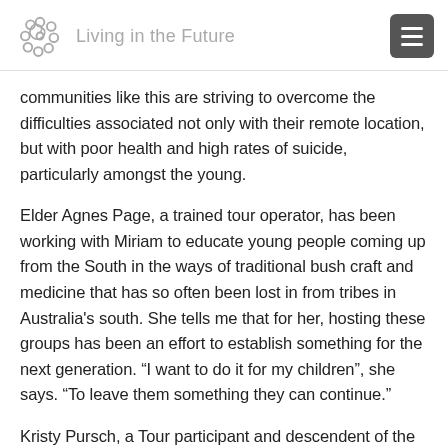Living in the Future
communities like this are striving to overcome the difficulties associated not only with their remote location, but with poor health and high rates of suicide, particularly amongst the young.
Elder Agnes Page, a trained tour operator, has been working with Miriam to educate young people coming up from the South in the ways of traditional bush craft and medicine that has so often been lost in from tribes in Australia's south. She tells me that for her, hosting these groups has been an effort to establish something for the next generation. “I want to do it for my children”, she says. “To leave them something they can continue.”
Kristy Pursch, a Tour participant and descendent of the Butchulla trible of Fraser Island, grew up estranged from